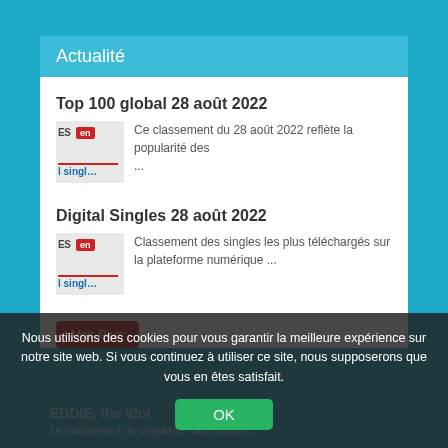Actualité
Top 100 global 28 août 2022
Ce classement du 28 août 2022 reflète la popularité des ...
Digital Singles 28 août 2022
Classement des singles les plus téléchargés sur la plateforme numérique ...
Voir Plus
Nous utilisons des cookies pour vous garantir la meilleure expérience sur notre site web. Si vous continuez à utiliser ce site, nous supposerons que vous en êtes satisfait.
OK